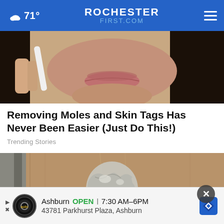71° ROCHESTERFIRST.COM
[Figure (photo): Close-up photo of a woman's lower face near mouth, holding a white object near her cheek, dark hair visible]
Removing Moles and Skin Tags Has Never Been Easier (Just Do This!)
Trending Stories
[Figure (photo): Close-up photo of a door knob wrapped in aluminum foil]
Ashburn OPEN | 7:30 AM–6PM 43781 Parkhurst Plaza, Ashburn